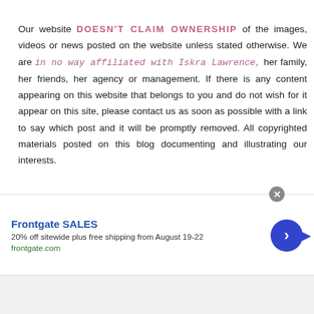Our website DOESN'T CLAIM OWNERSHIP of the images, videos or news posted on the website unless stated otherwise. We are in no way affiliated with Iskra Lawrence, her family, her friends, her agency or management. If there is any content appearing on this website that belongs to you and do not wish for it appear on this site, please contact us as soon as possible with a link to say which post and it will be promptly removed. All copyrighted materials posted on this blog documenting and illustrating our interests.
[Figure (screenshot): Advertisement banner for Frontgate SALES - 20% off sitewide plus free shipping from August 19-22. Shows frontgate.com URL, blue arrow button, and close button.]